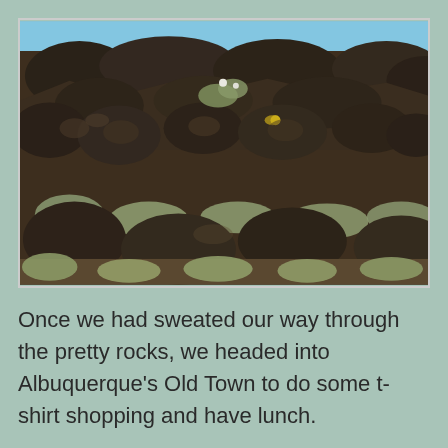[Figure (photo): A hillside covered with dark volcanic basalt rocks and desert scrub vegetation including sagebrush and small flowering plants, under a blue sky. Likely Petroglyph National Monument near Albuquerque, New Mexico.]
Once we had sweated our way through the pretty rocks, we headed into Albuquerque's Old Town to do some t-shirt shopping and have lunch.